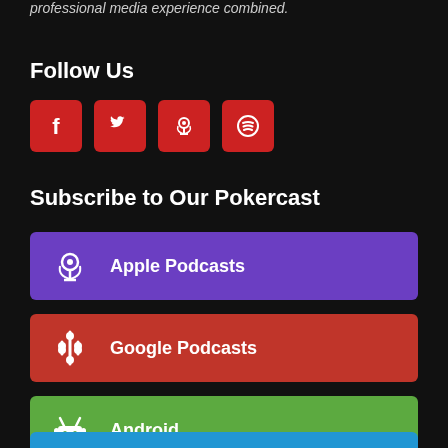professional media experience combined.
Follow Us
[Figure (infographic): Four red square social media icon buttons: Facebook (f), Twitter (bird), Podcast (microphone), Spotify (circle with waves)]
Subscribe to Our Pokercast
[Figure (infographic): Purple button with podcast icon and text: Apple Podcasts]
[Figure (infographic): Red button with Google Podcasts icon and text: Google Podcasts]
[Figure (infographic): Green button with Android icon and text: Android]
[Figure (infographic): Blue button (partially visible at bottom)]